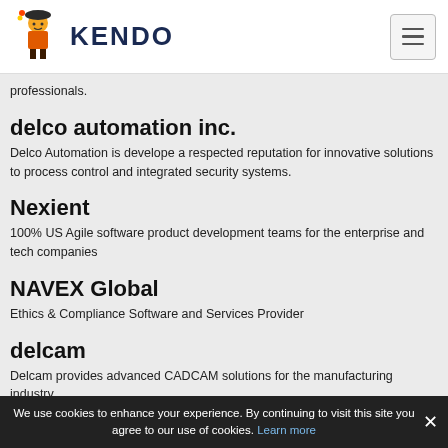KENDO
professionals.
delco automation inc.
Delco Automation is develope a respected reputation for innovative solutions to process control and integrated security systems.
Nexient
100% US Agile software product development teams for the enterprise and tech companies
NAVEX Global
Ethics & Compliance Software and Services Provider
delcam
Delcam provides advanced CADCAM solutions for the manufacturing industry.
We use cookies to enhance your experience. By continuing to visit this site you agree to our use of cookies. Learn more